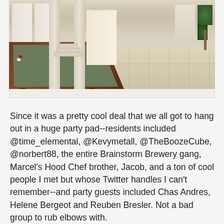[Figure (photo): Interior photo of a large party house showing a pool/billiard table in the foreground on the left, a wide open room with columns, tiled floor, hallway leading to other rooms, a plant in the right corner, and doors on the left. A watermark reads 'GLVAR 2012'.]
Since it was a pretty cool deal that we all got to hang out in a huge party pad--residents included @time_elemental, @Kevymetall, @TheBoozeCube, @norbert88, the entire Brainstorm Brewery gang, Marcel's Hood Chef brother, Jacob, and a ton of cool people I met but whose Twitter handles I can't remember--and party guests included Chas Andres, Helene Bergeot and Reuben Bresler. Not a bad group to rub elbows with.